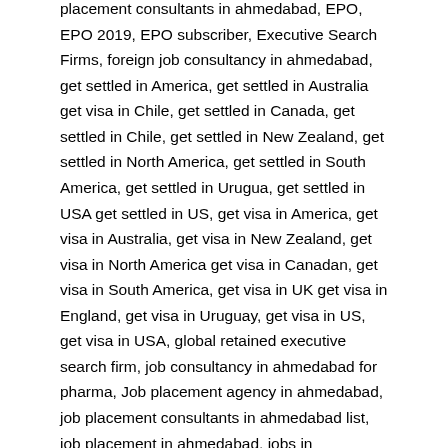placement consultants in ahmedabad, ..., subscriber, Executive Search Firms, foreign job consultancy in ahmedabad, get settled in America, get settled in Australia get visa in Chile, get settled in Canada, get settled in Chile, get settled in New Zealand, get settled in North America, get settled in South America, get settled in Urugua, get settled in USA get settled in US, get visa in America, get visa in Australia, get visa in New Zealand, get visa in North America get visa in Canadan, get visa in South America, get visa in UK get visa in England, get visa in Uruguay, get visa in US, get visa in USA, global retained executive search firm, job consultancy in ahmedabad for pharma, Job placement agency in ahmedabad, job placement consultants in ahmedabad list, job placement in ahmedabad, jobs in ahmedabad, Labour Law, list of executive search firms, list of job consultancy in gujarat, list of job consultancy in india, Lockdown, national executive recruiting firms, New Normal, overseas job consultants for civil engineers africa jobs consultants in india, overseas job consultants for mechanical engineers, overseas job consultants in ahmedabad, overseas job consultants in gujarat, overseas job consultants in india, overseas